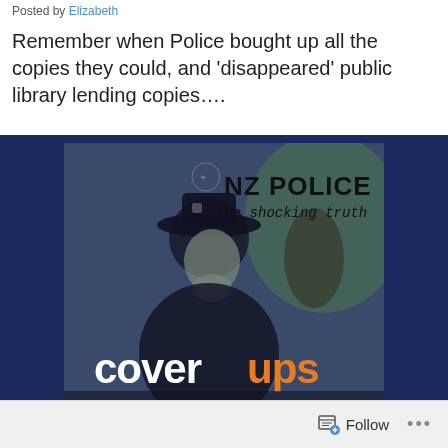Posted by Elizabeth
Remember when Police bought up all the copies they could, and ‘disappeared’ public library lending copies….
[Figure (photo): Book cover of 'NZ Police: the shocking truth — coverups'. Dark navy blue background with a silhouetted figure of a police officer. Title text in black reads 'NZ POLICE the shocking truth'. Bottom text reads 'cover' in white and 'ups' in orange.]
Follow  •••